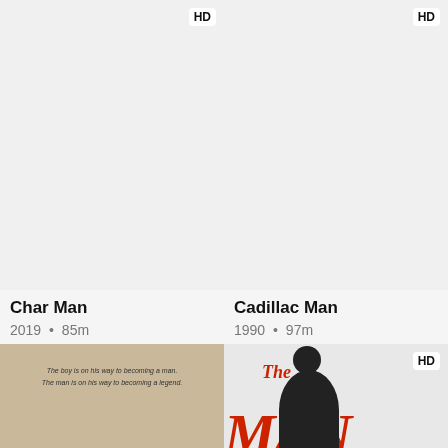[Figure (other): Movie card thumbnail for Char Man (top, blank/grey with HD badge)]
[Figure (other): Movie card thumbnail for Cadillac Man (top, blank/grey with HD badge)]
Char Man
2019 • 85m
Cadillac Man
1990 • 97m
[Figure (other): Partial bottom movie poster for Char Man: tan/beige background with italic text 'The boy is on his way to becoming a man. The man is on his way to becoming a legend.']
[Figure (other): Partial bottom movie poster for The Man: red bold letters 'The MAN' with silhouette figure, HD badge]